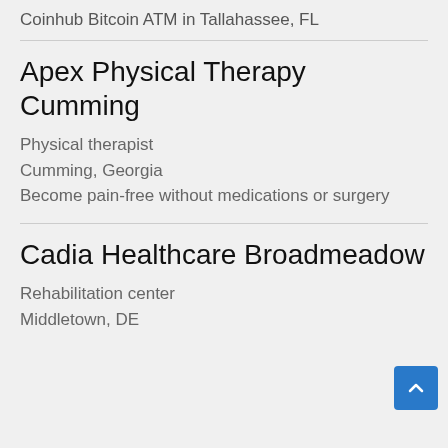Coinhub Bitcoin ATM in Tallahassee, FL
Apex Physical Therapy Cumming
Physical therapist
Cumming, Georgia
Become pain-free without medications or surgery
Cadia Healthcare Broadmeadow
Rehabilitation center
Middletown, DE